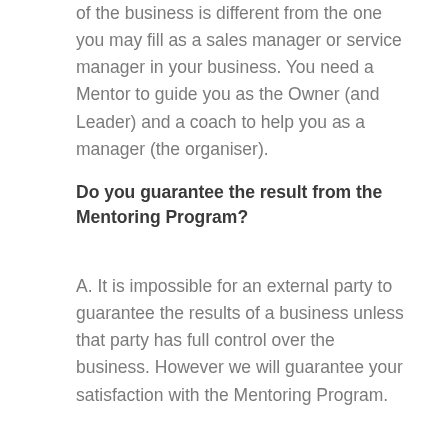of the business is different from the one you may fill as a sales manager or service manager in your business. You need a Mentor to guide you as the Owner (and Leader) and a coach to help you as a manager (the organiser).
Do you guarantee the result from the Mentoring Program?
A. It is impossible for an external party to guarantee the results of a business unless that party has full control over the business. However we will guarantee your satisfaction with the Mentoring Program.